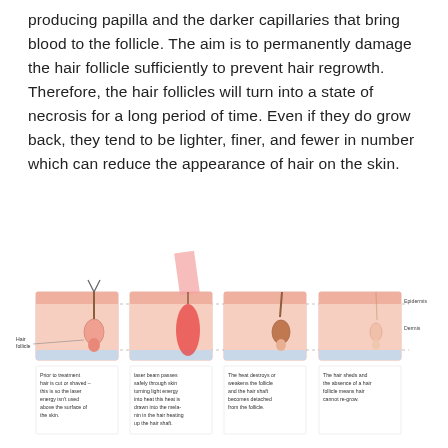producing papilla and the darker capillaries that bring blood to the follicle. The aim is to permanently damage the hair follicle sufficiently to prevent hair regrowth. Therefore, the hair follicles will turn into a state of necrosis for a long period of time. Even if they do grow back, they tend to be lighter, finer, and fewer in number which can reduce the appearance of hair on the skin.
[Figure (illustration): Four-panel medical illustration showing stages of laser hair removal: 1) Prior to treatment, hair is cut or shaved so the laser energy isn't used above the surface of the skin. 2) Laser beam passes safely through skin turning light energy into heat; the heat is drawn into the melanin in the hair heating up the hair shaft. 3) The heat destroys or weakens the follicle and the hair shaft becomes detached from the follicle. 4) The hair sheds and the absence of a hair follicle means hair cannot re-grow. Labels show Epidermis, Dermis, and Hair follicle.]